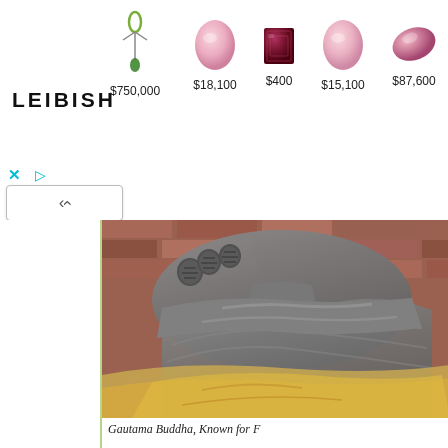[Figure (screenshot): Advertisement banner for LEIBISH jewelry brand showing a necklace ($750,000), pink oval gemstone ($18,100), dark red emerald-cut gemstone ($400), pink oval gemstone ($15,100), and pink marquise gemstone ($87,600). Includes a close (X) button and play button, plus a collapse chevron button below.]
[Figure (photo): Close-up photograph of a stone Buddha statue showing textured curled hair details and draped stone robes, with a brick wall visible in the background. Colors include gray stone and warm golden/amber robe areas.]
Gautama Buddha, Known for F...